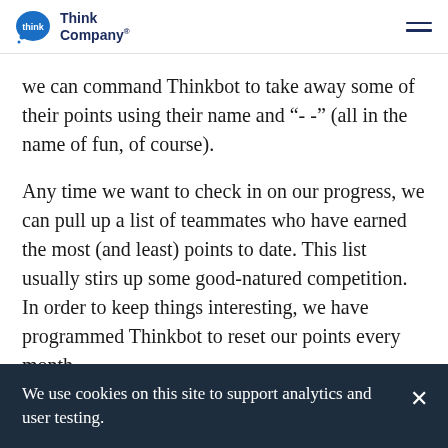Think Company
we can command Thinkbot to take away some of their points using their name and “- -” (all in the name of fun, of course).
Any time we want to check in on our progress, we can pull up a list of teammates who have earned the most (and least) points to date. This list usually stirs up some good-natured competition. In order to keep things interesting, we have programmed Thinkbot to reset our points every month
We use cookies on this site to support analytics and user testing.